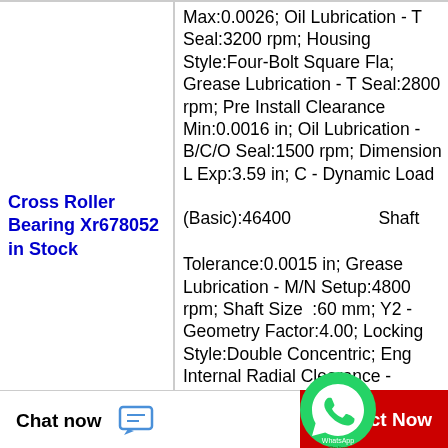Cross Roller Bearing Xr678052 in Stock
Max:0.0026; Oil Lubrication - T Seal:3200 rpm; Housing Style:Four-Bolt Square Fla; Grease Lubrication - T Seal:2800 rpm; Pre Install Clearance Min:0.0016 in; Oil Lubrication - B/C/O Seal:1500 rpm; Dimension L Exp:3.59 in; C - Dynamic Load (Basic):46400; Shaft Tolerance:0.0015 in; Grease Lubrication - M/N Setup:4800 rpm; Shaft Size :60 mm; Y2 - Geometry Factor:4.00; Locking Style:Double Concentric; Eng Internal Radial Clearance - Min:0.0016; Dimension M:2.15 in; C0 - Static
Chat now
Contact Now